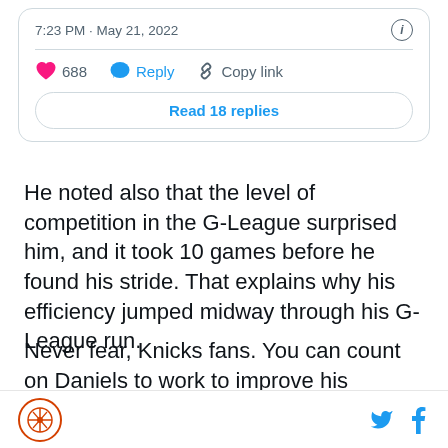[Figure (screenshot): Tweet card showing timestamp 7:23 PM · May 21, 2022 with info icon, action bar with 688 likes, Reply, Copy link buttons, and Read 18 replies button]
He noted also that the level of competition in the G-League surprised him, and it took 10 games before he found his stride. That explains why his efficiency jumped midway through his G-League run.
Never fear, Knicks fans. You can count on Daniels to work to improve his shooting and skills, and he should progress nicely under the guidance of an NBA staff. He is committed to being the gnarliest defender on the
Logo · Twitter · Facebook